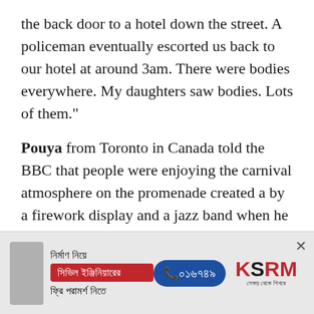the back door to a hotel down the street. A policeman eventually escorted us back to our hotel at around 3am. There were bodies everywhere. My daughters saw bodies. Lots of them."
Pouya from Toronto in Canada told the BBC that people were enjoying the carnival atmosphere on the promenade created a by a firework display and a jazz band when he heard "lots of screams" and people running in different directions.
"I didn't know what was going on, it felt surreal
[Figure (other): Advertisement banner for KSRM construction services in Bengali. Text reads: নির্মাণ নিয়ে, সিভিল ইঞ্জিনিয়ারের, ফ্রি পরামর্শ নিতে. Phone number ০১৬৭৪৯ shown in blue pill shape. KSRM logo in red and black.]